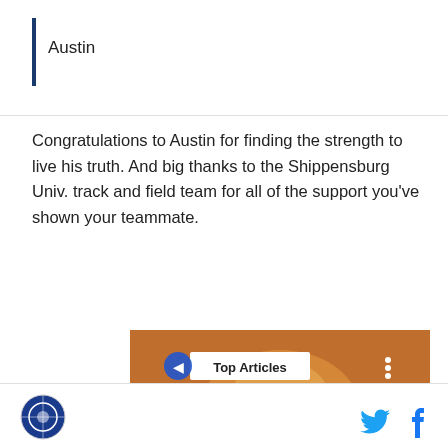Austin
Congratulations to Austin for finding the strength to live his truth. And big thanks to the Shippensburg Univ. track and field team for all of the support you've shown your teammate.
[Figure (screenshot): Video player showing a crowd of people in orange colors with a Top Articles label, play button, and caption 'F1 Schedule: How and what to watch at the Dutch Grand']
Logo, Twitter and Facebook icons